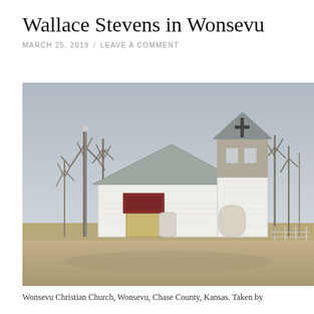Wallace Stevens in Wonsevu
MARCH 25, 2019 / LEAVE A COMMENT
[Figure (photo): Photograph of the Wonsevu Christian Church, a white wooden church building with a grey roof, stone and white bell tower with a cross, bulletin board sign at entrance, bare trees behind, overcast sky, rural Kansas setting.]
Wonsevu Christian Church, Wonsevu, Chase County, Kansas. Taken by